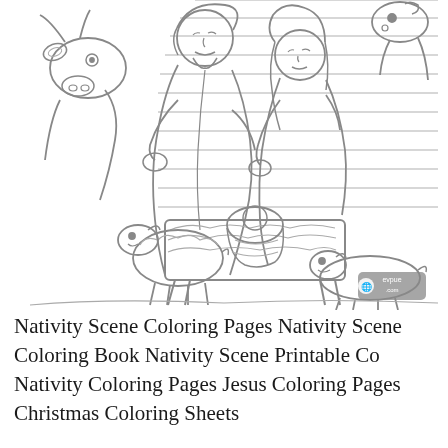[Figure (illustration): A nativity scene coloring page line drawing showing Mary and Joseph with baby Jesus in a manger, surrounded by animals including a cow on the left, a lamb/goat in the center-left, and a sheep on the right. Stable structure with steps in the background. A small watermark logo visible in the bottom right corner.]
Nativity Scene Coloring Pages Nativity Scene Coloring Book Nativity Scene Printable Co Nativity Coloring Pages Jesus Coloring Pages Christmas Coloring Sheets